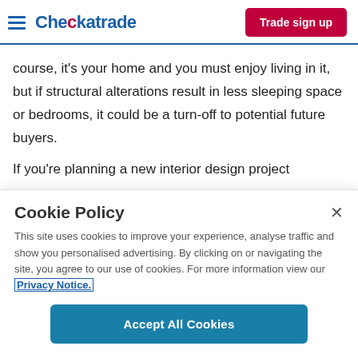Checkatrade | Trade sign up
course, it’s your home and you must enjoy living in it, but if structural alterations result in less sleeping space or bedrooms, it could be a turn-off to potential future buyers.
If you’re planning a new interior design project
Cookie Policy
This site uses cookies to improve your experience, analyse traffic and show you personalised advertising. By clicking on or navigating the site, you agree to our use of cookies. For more information view our Privacy Notice.
Accept All Cookies